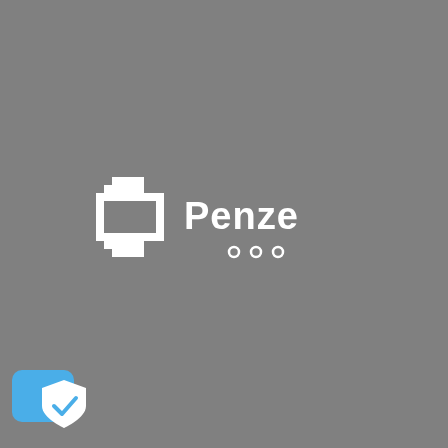[Figure (logo): 2Penze logo: a pixelated smartwatch icon on the left showing the number 2 on its face, followed by the text 'Penze' in white rounded sans-serif font, with three small circles below the text. All on a medium gray background.]
[Figure (logo): Small blue rounded rectangle card with a white shield checkmark icon overlaid in the bottom-left corner of the page.]